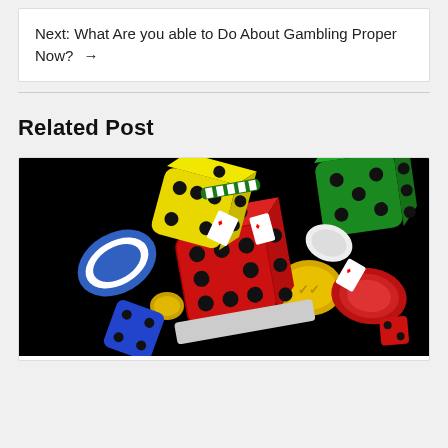Next: What Are you able to Do About Gambling Proper Now? →
Related Post
[Figure (photo): A dark background image showing colorful casino/gambling items floating in the air: red, yellow, green, and blue dice, poker chips (blue, white, red, yellow), playing cards, and gold coins scattered dynamically.]